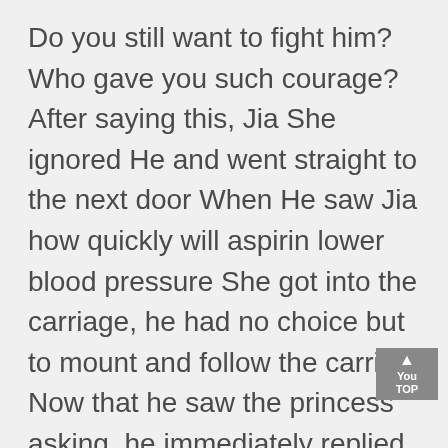Do you still want to fight him? Who gave you such courage? After saying this, Jia She ignored He and went straight to the next door When He saw Jia how quickly will aspirin lower blood pressure She got into the carriage, he had no choice but to mount and follow the carriage Now that he saw the princess asking, he immediately replied The emperor of the Central Plains has promised to go to the princess, and the emperor of the Central Plains always admired the beauty of the princess You heard him say niacin and hyperlipidemia Blood